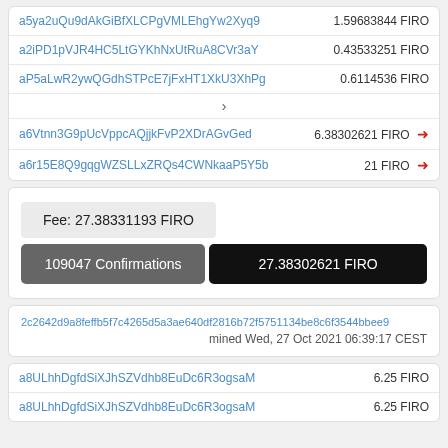| Address | Amount |
| --- | --- |
| a5ya2uQu9dAkGiBfXLCPgVMLEhgYw2Xyq9 | 1.59683844 FIRO |
| a2iPD1pVJR4HC5LtGYKhNxUtRuA8CVr3aY | 0.43533251 FIRO |
| aP5aLwR2ywQGdhSTPcE7jFxHT1XkU3XhPg | 0.6114536 FIRO |
| Address | Amount |
| --- | --- |
| a6Vtnn3G9pUcVppcAQjjkFvP2XDrAGvGed | 6.38302621 FIRO → |
| a6r15E8Q9gqgWZSLLxZRQs4CWNkaaP5Y5b | 21 FIRO → |
Fee: 27.38331193 FIRO
109047 Confirmations
27.38302621 FIRO
2c2642d9a8feffb5f7c4265d5a3ae640df2816b72f5751134be8c6f3544bbee9
mined Wed, 27 Oct 2021 06:39:17 CEST
| Address | Amount |
| --- | --- |
| a8ULhhDgfdSiXJhSZVdhb8EuDc6R3ogsaM | 6.25 FIRO |
| a8ULhhDgfdSiXJhSZVdhb8EuDc6R3ogsaM | 6.25 FIRO |